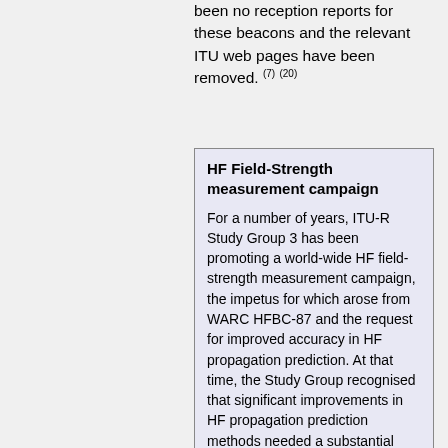been no reception reports for these beacons and the relevant ITU web pages have been removed. (7) (20)
HF Field-Strength measurement campaign
For a number of years, ITU-R Study Group 3 has been promoting a world-wide HF field-strength measurement campaign, the impetus for which arose from WARC HFBC-87 and the request for improved accuracy in HF propagation prediction. At that time, the Study Group recognised that significant improvements in HF propagation prediction methods needed a substantial body of new measurement data and to that end, administrations and organisations were invited to participate in the measurement campaign, either by installing suitable transmitters or by collecting long-term data from appropriate receiving systems. The campaign is specified in Recommendation ITU-R P.845 'HF field-strength measurement'